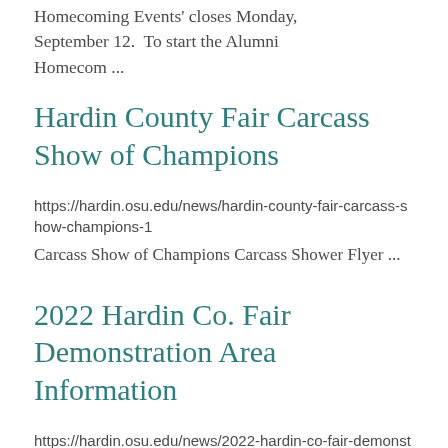Homecoming Events' closes Monday, September 12.  To start the Alumni Homecom ...
Hardin County Fair Carcass Show of Champions
https://hardin.osu.edu/news/hardin-county-fair-carcass-show-champions-1
Carcass Show of Champions Carcass Shower Flyer ...
2022 Hardin Co. Fair Demonstration Area Information
https://hardin.osu.edu/news/2022-hardin-co-fair-demonstration-area-information
2022 Hardin County Fair Demonstration ...